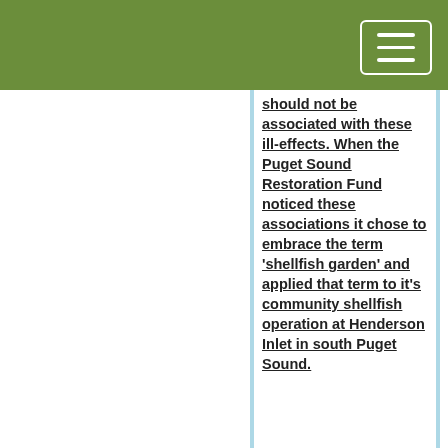[Figure (other): Green header bar with white hamburger menu button (three horizontal lines) in top-right corner]
should not be associated with these ill-effects. When the Puget Sound Restoration Fund noticed these associations it chose to embrace the term 'shellfish garden' and applied that term to it's community shellfish operation at Henderson Inlet in south Puget Sound.
It's a misnomer of course. Shellfish are animals not plants. A shellfish garden raises livestock and can much more accurately be referred to as a farm. But who cares? Whenever